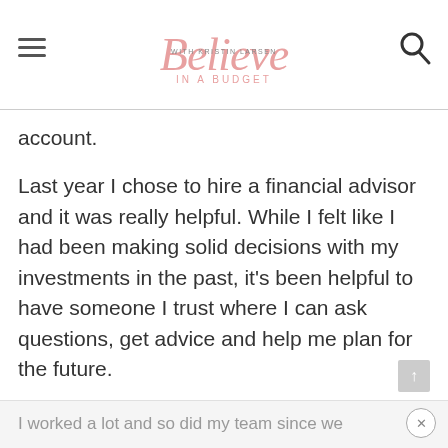Believe in a Budget with Kristin Larsen
account.
Last year I chose to hire a financial advisor and it was really helpful. While I felt like I had been making solid decisions with my investments in the past, it's been helpful to have someone I trust where I can ask questions, get advice and help me plan for the future.
Business notes worth mentioning
I worked a lot and so did my team since we